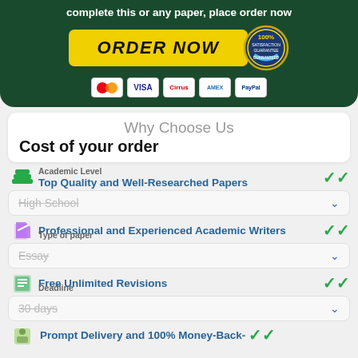complete this or any paper, place order now
[Figure (infographic): Yellow ORDER NOW button with 100% satisfaction guarantee badge and payment icons (Mastercard, Visa, Cirrus, Amex, PayPal) on dark green background]
Why Choose Us
Cost of your order
Top Quality and Well-Researched Papers
Academic Level
High School
Professional and Experienced Academic Writers
Type of paper
Essay
Free Unlimited Revisions
Deadline
30 days
Prompt Delivery and 100% Money-Back-